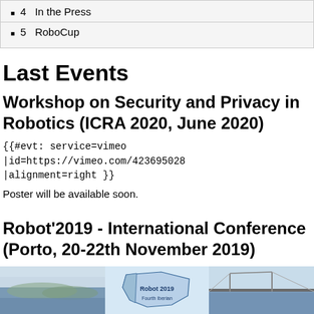4  In the Press
5  RoboCup
Last Events
Workshop on Security and Privacy in Robotics (ICRA 2020, June 2020)
{{#evt: service=vimeo |id=https://vimeo.com/423695028 |alignment=right }}
Poster will be available soon.
Robot'2019 - International Conference (Porto, 20-22th November 2019)
[Figure (photo): Three-panel image strip: left panel shows a coastal/city landscape, center panel shows the Robot 2019 Fourth Iberian conference map/logo, right panel shows a bridge over water.]